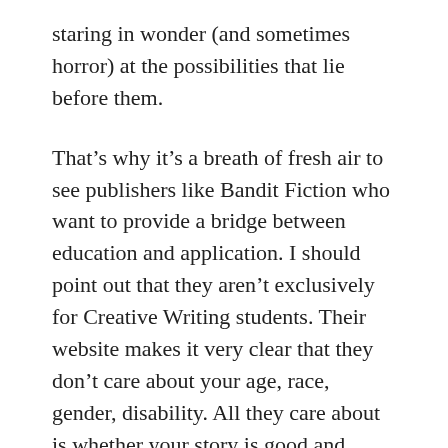staring in wonder (and sometimes horror) at the possibilities that lie before them.
That’s why it’s a breath of fresh air to see publishers like Bandit Fiction who want to provide a bridge between education and application. I should point out that they aren’t exclusively for Creative Writing students. Their website makes it very clear that they don’t care about your age, race, gender, disability. All they care about is whether your story is good and suited to them.